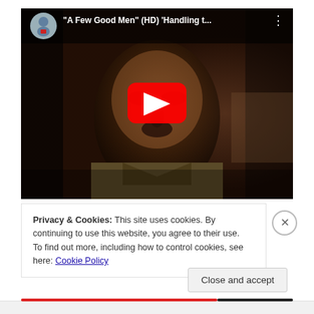[Figure (screenshot): YouTube video thumbnail showing 'A Few Good Men' (HD) 'Handling t...' with play button overlay, avatar icon and three-dot menu in top bar, dark film still of a man in military uniform]
Privacy & Cookies: This site uses cookies. By continuing to use this website, you agree to their use.
To find out more, including how to control cookies, see here: Cookie Policy
Close and accept